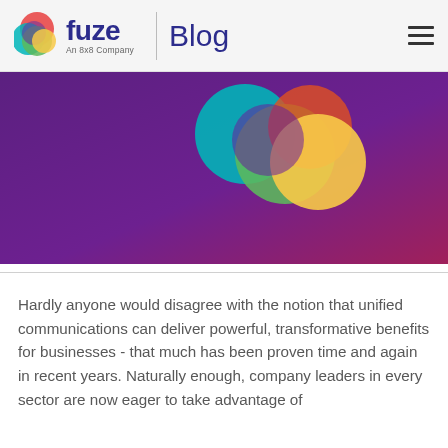fuze | Blog An 8x8 Company
[Figure (illustration): Fuze brand hero image with purple-to-magenta gradient background and overlapping colorful circles (teal, green, orange, yellow) in the upper center area]
Hardly anyone would disagree with the notion that unified communications can deliver powerful, transformative benefits for businesses - that much has been proven time and again in recent years. Naturally enough, company leaders in every sector are now eager to take advantage of